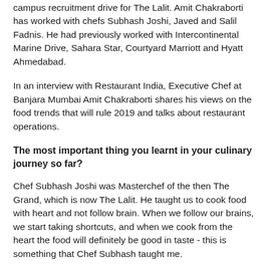campus recruitment drive for The Lalit. Amit Chakraborti has worked with chefs Subhash Joshi, Javed and Salil Fadnis. He had previously worked with Intercontinental Marine Drive, Sahara Star, Courtyard Marriott and Hyatt Ahmedabad.
In an interview with Restaurant India, Executive Chef at Banjara Mumbai Amit Chakraborti shares his views on the food trends that will rule 2019 and talks about restaurant operations.
The most important thing you learnt in your culinary journey so far?
Chef Subhash Joshi was Masterchef of the then The Grand, which is now The Lalit. He taught us to cook food with heart and not follow brain. When we follow our brains, we start taking shortcuts, and when we cook from the heart the food will definitely be good in taste - this is something that Chef Subhash taught me.
Chef Javed and Chef Salil were my mentors too. I learnt Arabic cuisines from Chef Javed while working with